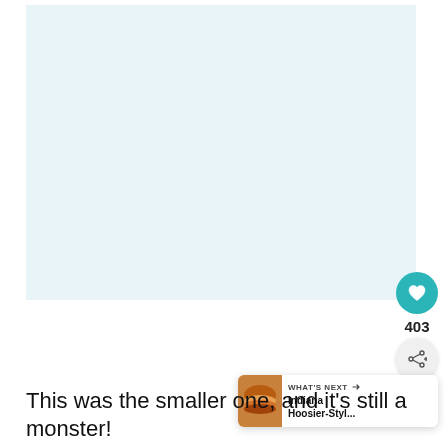[Figure (photo): Large light blue/white image area — appears to be a food photo (mostly blank/washed out in this render)]
[Figure (infographic): UI overlay with heart like button (teal circle, heart icon), like count '403', share button (circle with share icon), and 'WHAT'S NEXT' panel showing a thumbnail of a burger and text 'Indiana Hoosier-Styl...']
This was the smaller one, and it’s still a monster!